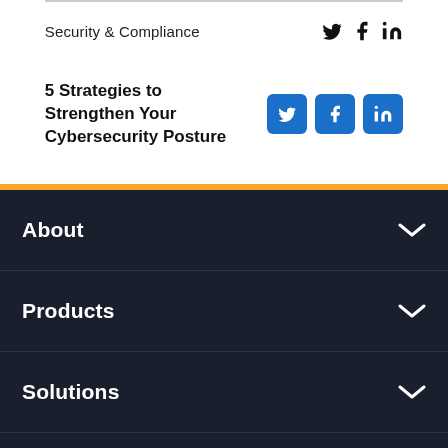Security & Compliance
5 Strategies to Strengthen Your Cybersecurity Posture
About
Products
Solutions
Get Started
Subscribe